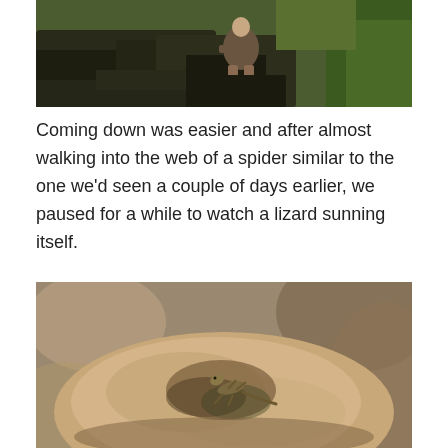[Figure (photo): A person sitting on dark rocky outcrops surrounded by lush green vegetation and grass in an outdoor natural setting.]
Coming down was easier and after almost walking into the web of a spider similar to the one we'd seen a couple of days earlier, we paused for a while to watch a lizard sunning itself.
[Figure (photo): Close-up photograph of a small lizard resting on a large rounded rock. The lizard blends in with the warm brown and grey tones of the rock surface. Background is blurred showing more rocks.]